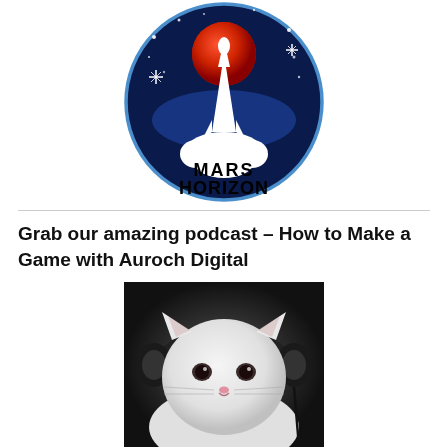[Figure (logo): Mars Horizon logo: dark navy blue circular badge with a rocket launching through clouds toward a red planet (Mars) against a starry background. Bold stylized text 'MARS HORIZON' in white at the bottom of the circle.]
Grab our amazing podcast – How to Make a Game with Auroch Digital
[Figure (photo): A white cat wearing large black over-ear headphones, photographed close up against a dark background, looking slightly downward.]